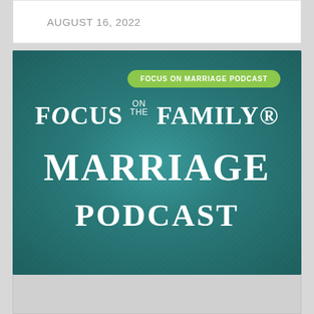AUGUST 16, 2022
[Figure (illustration): Focus on the Family Marriage Podcast logo on teal/green textured background. A green pill-shaped badge in upper right reads 'FOCUS ON MARRIAGE PODCAST'. Large white serif text reads 'FOCUS on the FAMILY' then 'MARRIAGE PODCAST'.]